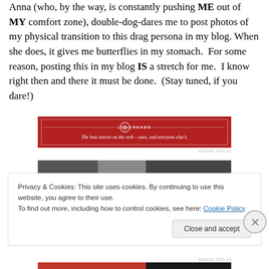Anna (who, by the way, is constantly pushing ME out of MY comfort zone), double-dog-dares me to post photos of my physical transition to this drag persona in my blog. When she does, it gives me butterflies in my stomach.  For some reason, posting this in my blog IS a stretch for me.  I know right then and there it must be done.  (Stay tuned, if you dare!)
[Figure (other): Longreads advertisement banner - red background with 'LONGREADS' logo and tagline 'The best stories on the web – ours, and everyone else's.']
[Figure (photo): Partial photo strip showing top of image, appears dark/black]
Privacy & Cookies: This site uses cookies. By continuing to use this website, you agree to their use.
To find out more, including how to control cookies, see here: Cookie Policy
Close and accept